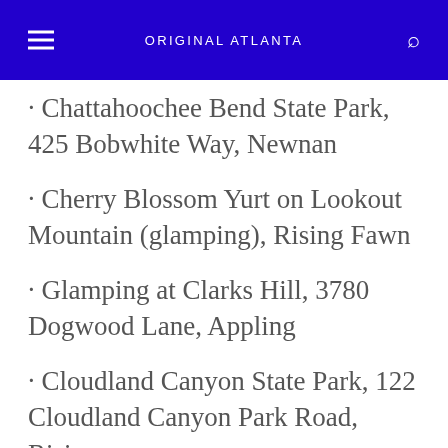ORIGINAL ATLANTA
· Chattahoochee Bend State Park, 425 Bobwhite Way, Newnan
· Cherry Blossom Yurt on Lookout Mountain (glamping), Rising Fawn
· Glamping at Clarks Hill, 3780 Dogwood Lane, Appling
· Cloudland Canyon State Park, 122 Cloudland Canyon Park Road, Rising